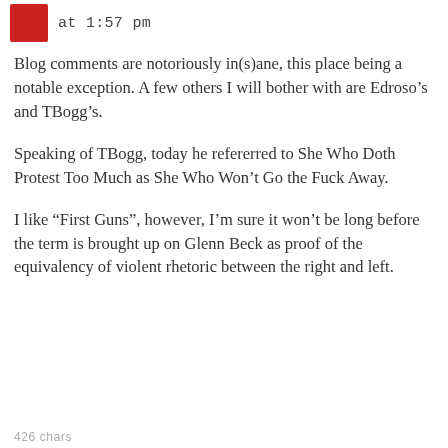at 1:57 pm
Blog comments are notoriously in(s)ane, this place being a notable exception. A few others I will bother with are Edroso’s and TBogg’s.
Speaking of TBogg, today he refererred to She Who Doth Protest Too Much as She Who Won’t Go the Fuck Away.
I like “First Guns”, however, I’m sure it won’t be long before the term is brought up on Glenn Beck as proof of the equivalency of violent rhetoric between the right and left.
426 chars